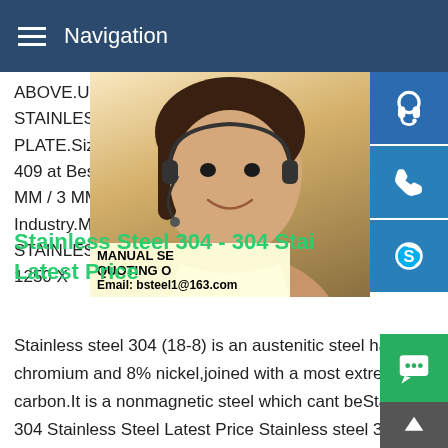Navigation
ABOVE.Usage/Application Automobile Industry.Material Grade STAINLESS STEEL 409 GRADE.Material PLATE.Size 1250 X 2500 / 1500 X 3000 / 409 at Best Price in IndiaGrade 409 GRA MM / 3 MM TO 50 MM AND ABOVE.Usag Industry.Material Grade STAINLESS STE STAINLESS STEEL PLATE.Size 1250 X 2 1250 X
Stainless Steel 304 - 304 Stainless Steel Latest Price
Stainless steel 304 (18-8) is an austenitic steel having at least 18% chromium and 8% nickel,joined with a most extreme of 0.08% carbon.It is a nonmagnetic steel which cant beStainless Steel 304 Stainless Steel Latest Price Stainless steel 304 (18-8) is a austenitic steel having at least 18% chromium and 8% nickel,j
[Figure (photo): Customer support representative woman with headset, smiling, with contact sidebar icons (headset, phone, Skype) in blue, and promotional text box showing MANUAL SERVICE, QUOTING O, Email: bsteel1@163.com]